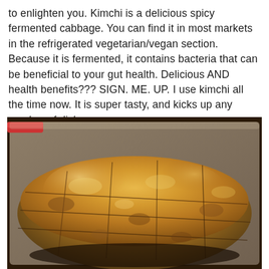to enlighten you. Kimchi is a delicious spicy fermented cabbage. You can find it in most markets in the refrigerated vegetarian/vegan section. Because it is fermented, it contains bacteria that can be beneficial to your gut health. Delicious AND health benefits??? SIGN. ME. UP. I use kimchi all the time now. It is super tasty, and kicks up any number of dishes.
[Figure (photo): Photo of a baked kimchi dish cut into squares in a rectangular baking pan, golden-brown and cheesy on top, shot in low light.]